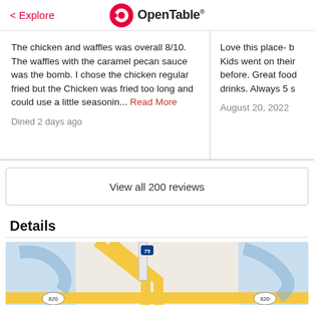< Explore | OpenTable
The chicken and waffles was overall 8/10. The waffles with the caramel pecan sauce was the bomb. I chose the chicken regular fried but the Chicken was fried too long and could use a little seasonin... Read More

Dined 2 days ago
Love this place- b... Kids went on their ... before. Great food ... drinks. Always 5 s...

August 20, 2022
View all 200 reviews
Details
[Figure (map): Google Maps screenshot showing road map with Interstate 75 and route 820 intersection, yellow roads on light background with blue water areas]